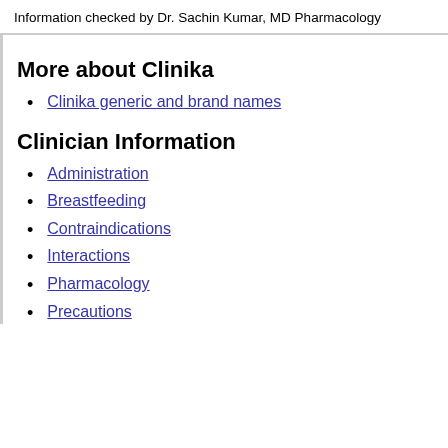Information checked by Dr. Sachin Kumar, MD Pharmacology
More about Clinika
Clinika generic and brand names
Clinician Information
Administration
Breastfeeding
Contraindications
Interactions
Pharmacology
Precautions